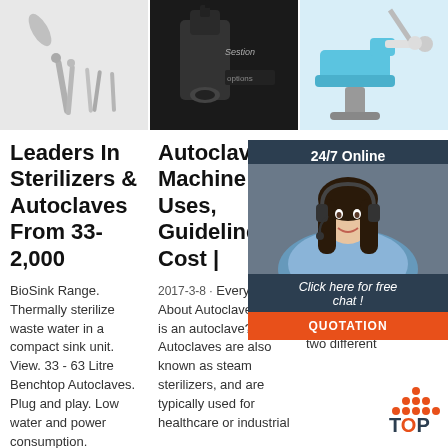[Figure (photo): Three medical/dental product images in a row: dental drill/tools on white background, microscope on dark background with 'Sestion' label, dental chair/equipment in blue]
Leaders In Sterilizers & Autoclaves From 33-2,000
BioSink Range. Thermally sterilize waste water in a compact sink unit. View. 33 - 63 Litre Benchtop Autoclaves. Plug and play. Low water and power consumption.
Autoclave Machine: Uses, Guidelines & Cost |
2017-3-8 · Everything About Autoclaves What is an autoclave? Autoclaves are also known as steam sterilizers, and are typically used for healthcare or industrial
Ster Med Equi - CS
2021-7- are a f techni medica profess use to instruments, devices and other equipment: Autoclaving: Also known as steam sterilization. There are two different
[Figure (photo): 24/7 Online chat popup with female customer service agent wearing headset, orange QUOTATION button, and 'Click here for free chat!' text]
[Figure (other): TOP button with orange dot pattern and dark blue text]